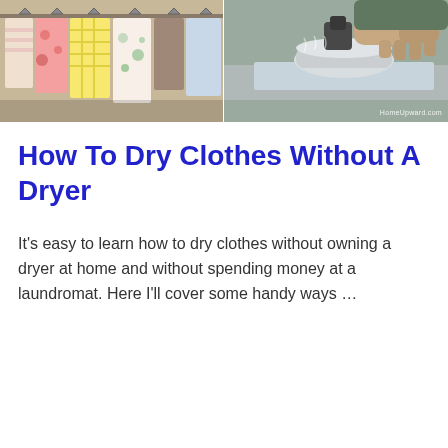[Figure (photo): Two photos side by side: left shows colorful clothes hanging on a rack, right shows a person ironing clothes on an ironing board. Watermark reads HomeUpward.com]
How To Dry Clothes Without A Dryer
It's easy to learn how to dry clothes without owning a dryer at home and without spending money at a laundromat. Here I'll cover some handy ways …
READ MORE »